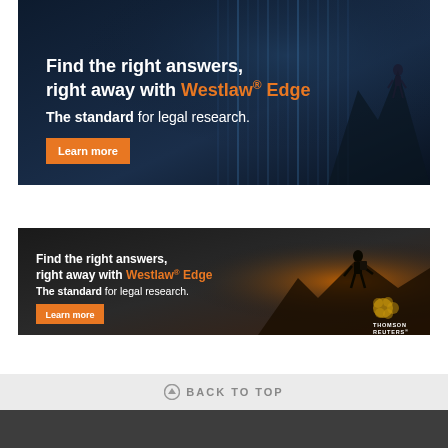[Figure (illustration): Westlaw Edge advertisement banner 1: dark blue tech background with glowing vertical lines and a figure on a mountain peak. Text: 'Find the right answers, right away with Westlaw Edge. The standard for legal research. Learn more']
[Figure (illustration): Westlaw Edge advertisement banner 2: dark background with person silhouette against sunset. Text: 'Find the right answers, right away with Westlaw Edge. The standard for legal research. Learn more' Thomson Reuters logo.]
BACK TO TOP